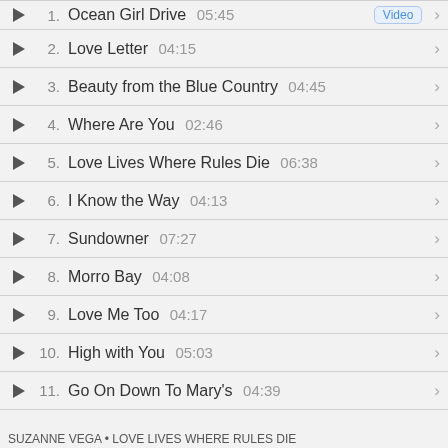1. Ocean Girl Drive 05:45
2. Love Letter 04:15
3. Beauty from the Blue Country 04:45
4. Where Are You 02:46
5. Love Lives Where Rules Die 06:38
6. I Know the Way 04:13
7. Sundowner 07:27
8. Morro Bay 04:08
9. Love Me Too 04:17
10. High with You 05:03
11. Go On Down To Mary's 04:39
SUZANNE VEGA • LOVE LIVES WHERE RULES DIE